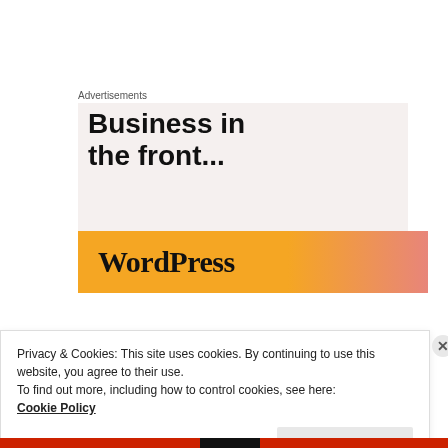Advertisements
[Figure (illustration): WordPress advertisement banner showing 'Business in the front...' text on light beige background with a WordPress logo on an orange-to-pink gradient bar]
https://www.gov.scot/policies/alcohol-and-
Privacy & Cookies: This site uses cookies. By continuing to use this website, you agree to their use.
To find out more, including how to control cookies, see here:
Cookie Policy
Close and accept